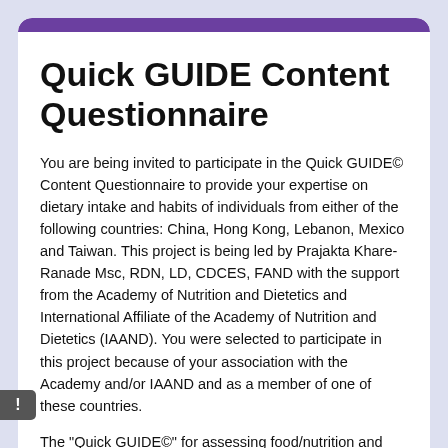Quick GUIDE Content Questionnaire
You are being invited to participate in the Quick GUIDE© Content Questionnaire to provide your expertise on dietary intake and habits of individuals from either of the following countries: China, Hong Kong, Lebanon, Mexico and Taiwan.  This project is being led by Prajakta Khare-Ranade Msc, RDN, LD, CDCES, FAND with the support from the Academy of Nutrition and Dietetics and International Affiliate of the Academy of Nutrition and Dietetics (IAAND). You were selected to participate in this project because of your association with the Academy and/or IAAND and as a member of one of these countries.
The "Quick GUIDE©" for assessing food/nutrition and dietary habits is a country-specific tool for dietetic professionals worldwide to help gather